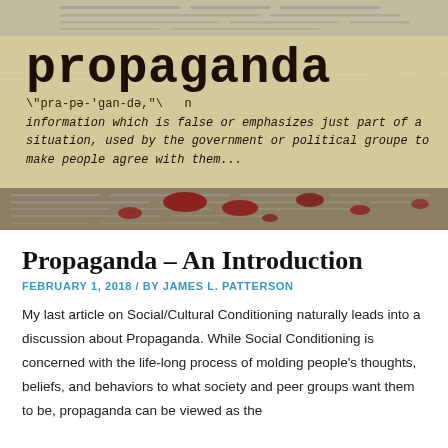[Figure (photo): Banner image with propaganda dictionary definition. Top strip shows faded newspaper text. Middle section on aged parchment background shows the word 'propaganda' in large typewriter font, phonetic spelling, and definition: 'information which is false or emphasizes just part of a situation, used by the government or political groupe to make people agree with them...' Bottom strip shows newspaper text with red ink blots/marks.]
Propaganda – An Introduction
FEBRUARY 1, 2018 / BY JAMES L. PATTERSON
My last article on Social/Cultural Conditioning naturally leads into a discussion about Propaganda. While Social Conditioning is concerned with the life-long process of molding people's thoughts, beliefs, and behaviors to what society and peer groups want them to be, propaganda can be viewed as the